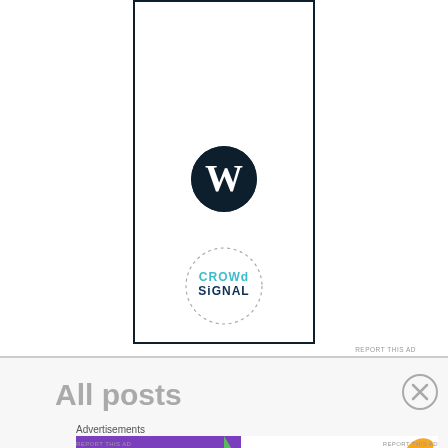[Figure (logo): WordPress logo (dark navy circle with W) inside a tall bordered advertisement box]
[Figure (logo): Crowdsignal logo inside dotted circle with teal/blue text]
REPORT THIS AD
All posts
Advertisements
[Figure (illustration): WooCommerce advertisement banner with purple background, WooCommerce logo, green arrow, and text 'How to start selling subscriptions online' with decorative leaf shapes]
REPORT THIS AD
REPORT THIS AD